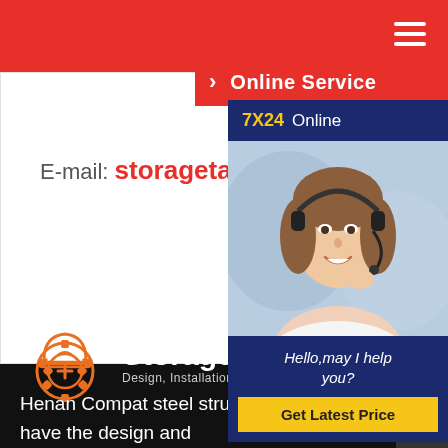[Figure (screenshot): Red top navigation bar with hamburger menu icon on the right]
Online Service
E-mail: storagetank@ye
[Figure (photo): Chat widget showing '7X24 Online' header in dark blue, photo of a smiling woman with headset, and 'Hello, may I help you?' message with 'Get Latest Price' yellow button]
[Figure (logo): Storage Tanks logo with hard-hat gear icon and text 'Storage Tanks, Design, Installation, Fabrication Service']
Henan Compat steel structural Co., Ltd is a member Sinopec and Petro China. We have the design and